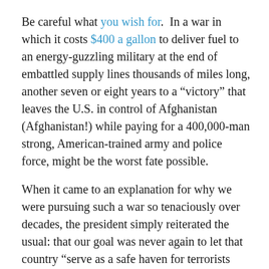Be careful what you wish for. In a war in which it costs $400 a gallon to deliver fuel to an energy-guzzling military at the end of embattled supply lines thousands of miles long, another seven or eight years to a “victory” that leaves the U.S. in control of Afghanistan (Afghanistan!) while paying for a 400,000-man strong, American-trained army and police force, might be the worst fate possible.
When it came to an explanation for why we were pursuing such a war so tenaciously over decades, the president simply reiterated the usual: that our goal was never again to let that country “serve as a safe haven for terrorists who would attack the United States of America.” These days, when it comes to the “why” question (as in “Why Afghanistan?”), that’s about as much as this